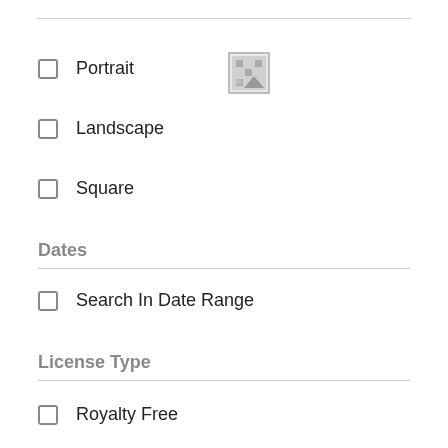Portrait
Landscape
Square
Dates
Search In Date Range
License Type
Royalty Free
Contact Us
Free
Editorial Use
Extended